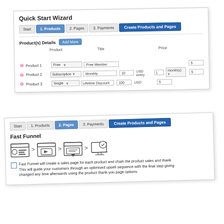[Figure (screenshot): Quick Start Wizard screenshot showing Products tab with product details form. Three products listed: Product 1 (Free, Free Member), Product 2 (Subscription, Monthly, 10 USD every 1 month(s)), Product 3 (Single, Lifetime Discount, 100 USD). Each with # Of Content Pages field showing 5. Tabs: Start, 1. Products (active), 2. Pages, 3. Payments, Create Products and Pages button.]
[Figure (screenshot): Quick Start Wizard screenshot showing 2. Pages tab active. Tabs: Start, 1. Products, 2. Pages (active), 3. Payments, Create Products and Pages. Fast Funnel section with icons and description text about creating sales pages for each product and chaining product sales and thank you pages through an optimised upsell sequence.]